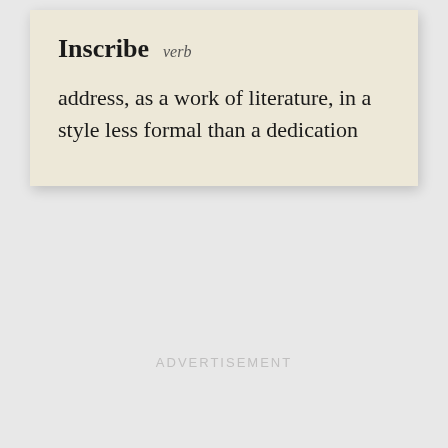Inscribe  verb
address, as a work of literature, in a style less formal than a dedication
ADVERTISEMENT